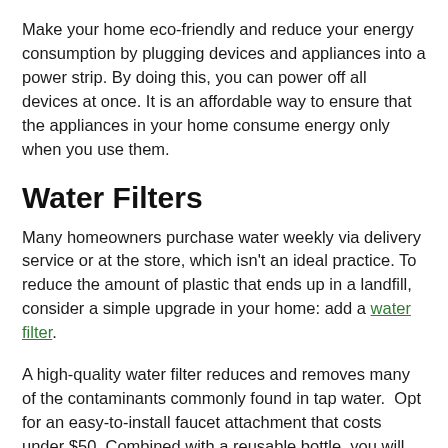Make your home eco-friendly and reduce your energy consumption by plugging devices and appliances into a power strip. By doing this, you can power off all devices at once. It is an affordable way to ensure that the appliances in your home consume energy only when you use them.
Water Filters
Many homeowners purchase water weekly via delivery service or at the store, which isn't an ideal practice. To reduce the amount of plastic that ends up in a landfill, consider a simple upgrade in your home: add a water filter.
A high-quality water filter reduces and removes many of the contaminants commonly found in tap water.  Opt for an easy-to-install faucet attachment that costs under $50. Combined with a reusable bottle, you will be able to